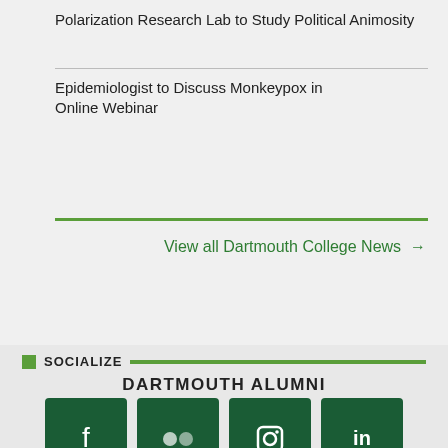Polarization Research Lab to Study Political Animosity
Epidemiologist to Discuss Monkeypox in Online Webinar
View all Dartmouth College News →
SOCIALIZE
DARTMOUTH ALUMNI
[Figure (infographic): Six social media icon buttons in dark green: Facebook, Flickr, Instagram, LinkedIn (top row), Twitter and Dartmouth D logo (bottom row)]